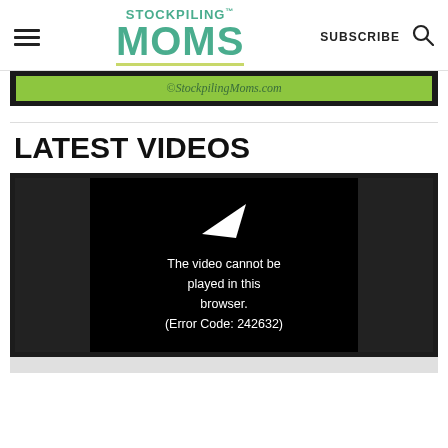STOCKPILING™ MOMS — SUBSCRIBE (search icon)
[Figure (screenshot): Green banner with text ©StockpilingMoms.com on dark background]
LATEST VIDEOS
[Figure (screenshot): Video player showing error: The video cannot be played in this browser. (Error Code: 242632)]